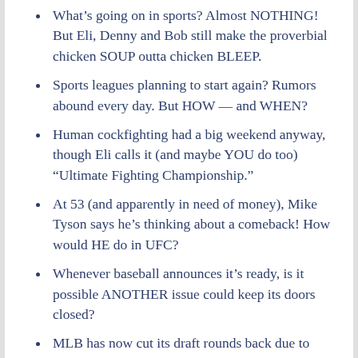What’s going on in sports? Almost NOTHING! But Eli, Denny and Bob still make the proverbial chicken SOUP outta chicken BLEEP.
Sports leagues planning to start again? Rumors abound every day. But HOW — and WHEN?
Human cockfighting had a big weekend anyway, though Eli calls it (and maybe YOU do too) “Ultimate Fighting Championship.”
At 53 (and apparently in need of money), Mike Tyson says he’s thinking about a comeback! How would HE do in UFC?
Whenever baseball announces it’s ready, is it possible ANOTHER issue could keep its doors closed?
MLB has now cut its draft rounds back due to COVID-19, but will that only help the